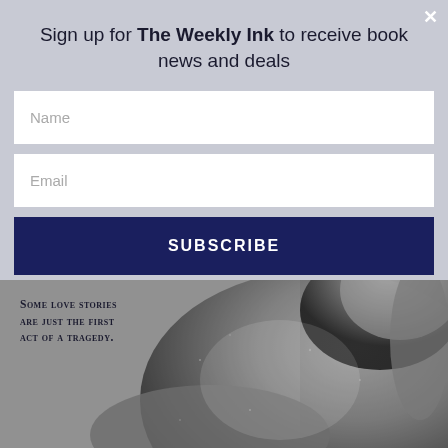Sign up for The Weekly Ink to receive book news and deals
Name
Email
SUBSCRIBE
[Figure (photo): Black and white photo of a shirtless man looking downward, used as book cover art background]
Some love stories are just the first act of a tragedy.